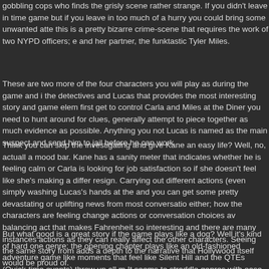gobbling cops who finds the grisly scene rather strange. If you didn't leave in time game but if you leave in too much of a hurry you could bring some unwanted atte this is a pretty bizarre crime-scene that requires the work of two NYPD officers; e and her partner, the funktastic Tyler Miles.
These are two more of the four characters you will play as during the game and i the detectives and Lucas that provides the most interesting story and game elem first get to control Carla and Miles at the Diner you need to hunt around for clues, generally attempt to piece together as much evidence as possible. Anything you not Lucas is named as the main suspect and send him to jail before he can work
Think you can skip the investigating and give Kane an easy life? Well, no, actuall a mood bar. Kane has a sanity meter that indicates whether he is feeling calm or Carla is looking for job satisfaction so if she doesn't feel like she's making a differ resign. Carrying out different actions (even simply washing Lucas's hands at the and you can get some pretty devastating or uplifting news from most conversatio either; how the characters are feeling change actions or conversation choices av balancing act that makes Fahrenheit so interesting and there are many instances actions as they can really affect the other characters. Seeing the same story from adds a depth to the narrative that Hollywood itself would be proud of.
But what good is a great story if the game plays like a dog? Well it's kind of hard one genre; the opening chapter plays like an old-fashioned adventure game like moments that feel like Silent Hill and the QTEs (Quick-time events) throw up all m It seems to straddle genres with ease. You may expect such a game to have hom thankfully the interface system here is just as fresh and innovative as the yarn be Movement is assigned to the left analogue stick, while commands (visible at the t